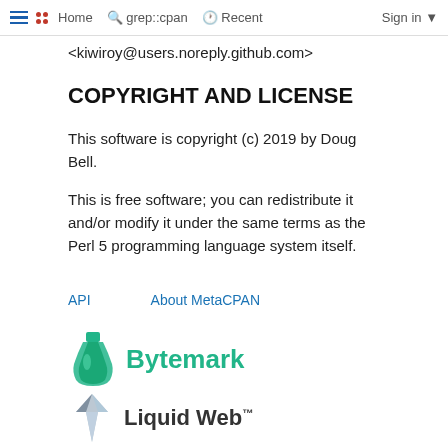≡  •• Home  🔍 grep::cpan  🕐 Recent  Sign in ▾
<kiwiroy@users.noreply.github.com>
COPYRIGHT AND LICENSE
This software is copyright (c) 2019 by Doug Bell.

This is free software; you can redistribute it and/or modify it under the same terms as the Perl 5 programming language system itself.
API   About MetaCPAN
[Figure (logo): Bytemark logo - green flask/bottle icon with 'Bytemark' text in green]
[Figure (logo): Liquid Web logo - stylized mountain/crystal icon with 'Liquid Web™' text]